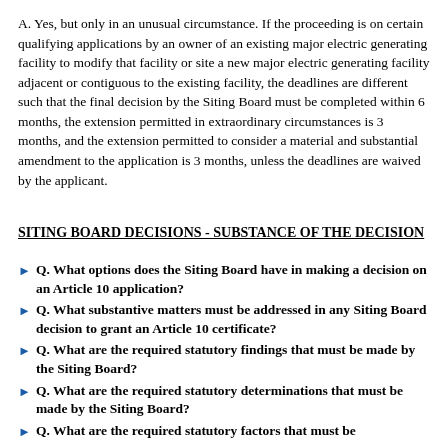A. Yes, but only in an unusual circumstance. If the proceeding is on certain qualifying applications by an owner of an existing major electric generating facility to modify that facility or site a new major electric generating facility adjacent or contiguous to the existing facility, the deadlines are different such that the final decision by the Siting Board must be completed within 6 months, the extension permitted in extraordinary circumstances is 3 months, and the extension permitted to consider a material and substantial amendment to the application is 3 months, unless the deadlines are waived by the applicant.
SITING BOARD DECISIONS - SUBSTANCE OF THE DECISION
Q. What options does the Siting Board have in making a decision on an Article 10 application?
Q. What substantive matters must be addressed in any Siting Board decision to grant an Article 10 certificate?
Q. What are the required statutory findings that must be made by the Siting Board?
Q. What are the required statutory determinations that must be made by the Siting Board?
Q. What are the required statutory factors that must be